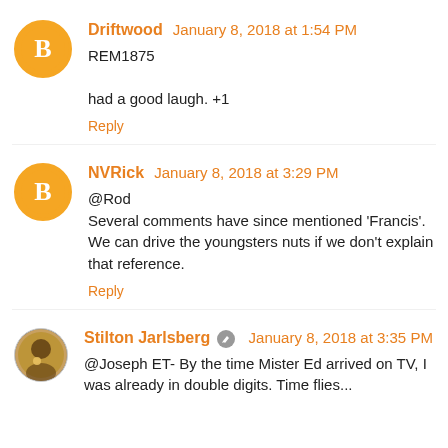Driftwood January 8, 2018 at 1:54 PM
REM1875
had a good laugh. +1
Reply
NVRick January 8, 2018 at 3:29 PM
@Rod
Several comments have since mentioned 'Francis'. We can drive the youngsters nuts if we don't explain that reference.
Reply
Stilton Jarlsberg January 8, 2018 at 3:35 PM
@Joseph ET- By the time Mister Ed arrived on TV, I was already in double digits. Time flies...